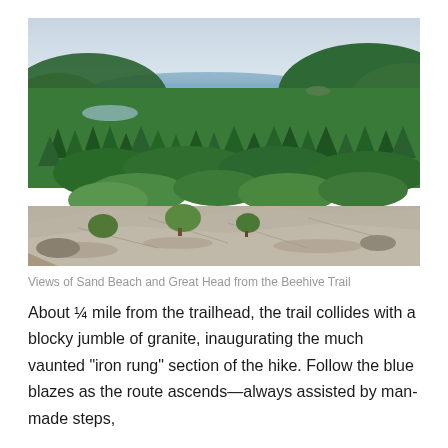[Figure (photo): Aerial view from a rocky granite outcrop overlooking dense green forest, Sand Beach, and the ocean coastline at Great Head, taken from the Beehive Trail in Acadia National Park. Sky is pale blue-grey, trees are lush green conifers and deciduous, rocky slabs visible in foreground.]
Views of Sand Beach and Great Head from the Beehive Trail
About ¼ mile from the trailhead, the trail collides with a blocky jumble of granite, inaugurating the much vaunted "iron rung" section of the hike. Follow the blue blazes as the route ascends—always assisted by man-made steps,